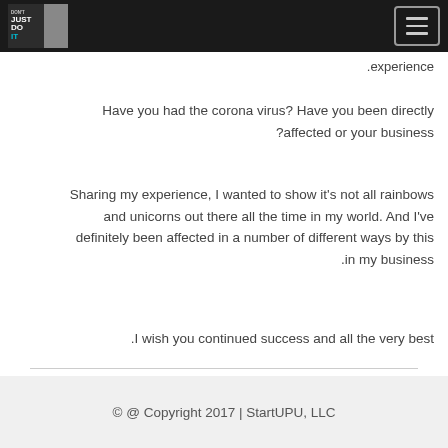Don't Just Do It — StartUPU
.experience
Have you had the corona virus? Have you been directly affected or your business?
Sharing my experience, I wanted to show it's not all rainbows and unicorns out there all the time in my world. And I've definitely been affected in a number of different ways by this in my business.
I wish you continued success and all the very best.
© @ Copyright 2017 | StartUPU, LLC